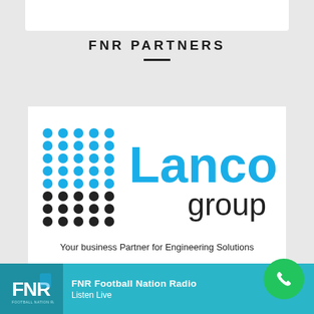FNR PARTNERS
[Figure (logo): Lanco Group logo with blue and black dot grid pattern on the left, 'Lanco' in blue and 'group' in black text on the right, tagline: Your business Partner for Engineering Solutions]
FNR Football Nation Radio
Listen Live